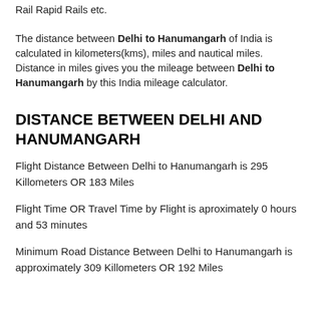Rail Rapid Rails etc.
The distance between Delhi to Hanumangarh of India is calculated in kilometers(kms), miles and nautical miles. Distance in miles gives you the mileage between Delhi to Hanumangarh by this India mileage calculator.
DISTANCE BETWEEN DELHI AND HANUMANGARH
Flight Distance Between Delhi to Hanumangarh is 295 Killometers OR 183 Miles
Flight Time OR Travel Time by Flight is aproximately 0 hours and 53 minutes
Minimum Road Distance Between Delhi to Hanumangarh is approximately 309 Killometers OR 192 Miles